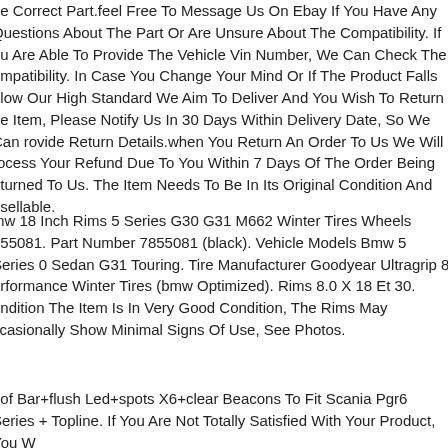he Correct Part.feel Free To Message Us On Ebay If You Have Any Questions About The Part Or Are Unsure About The Compatibility. If ou Are Able To Provide The Vehicle Vin Number, We Can Check The ompatibility. In Case You Change Your Mind Or If The Product Falls elow Our High Standard We Aim To Deliver And You Wish To Return he Item, Please Notify Us In 30 Days Within Delivery Date, So We Can rovide Return Details.when You Return An Order To Us We Will rocess Your Refund Due To You Within 7 Days Of The Order Being eturned To Us. The Item Needs To Be In Its Original Condition And esellable.
mw 18 Inch Rims 5 Series G30 G31 M662 Winter Tires Wheels 855081. Part Number 7855081 (black). Vehicle Models Bmw 5 Series 0 Sedan G31 Touring. Tire Manufacturer Goodyear Ultragrip 8 erformance Winter Tires (bmw Optimized). Rims 8.0 X 18 Et 30. ondition The Item Is In Very Good Condition, The Rims May ccasionally Show Minimal Signs Of Use, See Photos.
oof Bar+flush Led+spots X6+clear Beacons To Fit Scania Pgr6 Series + Topline. If You Are Not Totally Satisfied With Your Product, You W